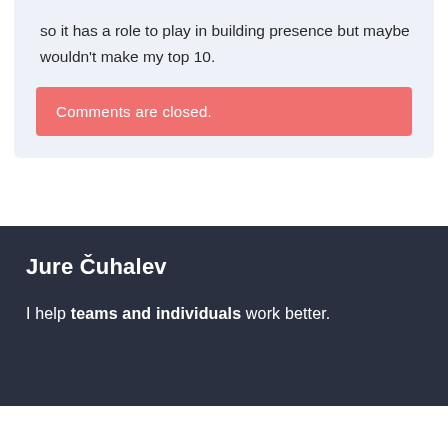so it has a role to play in building presence but maybe wouldn't make my top 10.
Comments are closed.
Jure Čuhalev
I help teams and individuals work better.